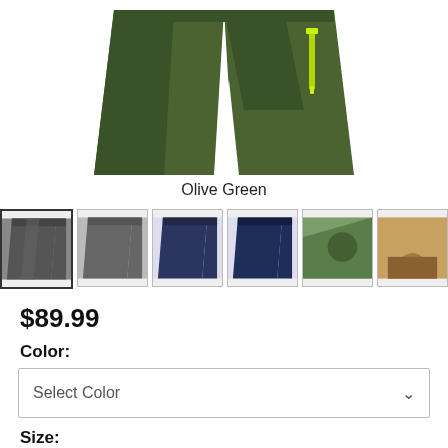[Figure (photo): Olive green mountain bike shorts with darker green panel inserts and a yellow-green zipper pocket detail on the side, shown from the front.]
Olive Green
[Figure (photo): Row of 6 product thumbnail images showing different colorways and views of cycling/MTB shorts. First thumbnail is selected (dark border). Colors include dark camo, dark grey, navy, solid navy, and lifestyle shots.]
$89.99
Color:
Select Color
Size:
Select Size